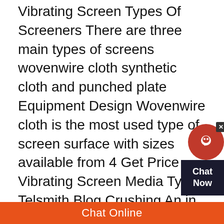Vibrating Screen Types Of Screeners There are three main types of screens wovenwire cloth synthetic cloth and punched plate Equipment Design Wovenwire cloth is the most used type of screen surface with sizes available from 4 Get Price Vibrating Screen Media Types Telsmith Blog Crushing An in depth review of the basic vibrating screen media types and the pros andType Of Plates Used For Vibrating Screen Which type vibrating screen you should choos is depend the type of material production washing condition and humidity You must be careful when you choose the vibrating scrrens that you need As General Machinery we help you in our factory and swhowroom for chosing vibrating system what you need in your facilityType Of Plates Used For Vibrating Screen· When the smaller rock has to be classified a vibrating screen will be used The simplest but the modern method is to employ for the purpose a heavyduty vibrating screen of the Hummer type which has no external moving parts to wear
[Figure (other): Chat widget with red circular icon and dark Chat Now label]
Chat Online